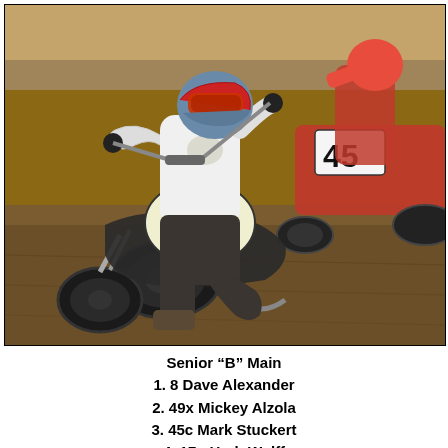[Figure (photo): Two motorcycle flat track dirt racers cornering hard on a dirt track. The lead rider wears a white jersey and a blue/red helmet, riding bike number 49. A second rider on a red motorcycle with number 45 is visible to the right. Both bikes are leaned heavily into the turn on a brown dirt surface.]
Senior "B" Main
1. 8 Dave Alexander
2. 49x Mickey Alzola
3. 45c Mark Stuckert
4. 17g Herb Wolff